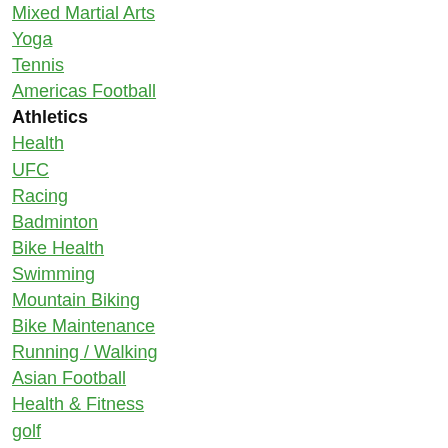Mixed Martial Arts
Yoga
Tennis
Americas Football
Athletics
Health
UFC
Racing
Badminton
Bike Health
Swimming
Mountain Biking
Bike Maintenance
Running / Walking
Asian Football
Health & Fitness
golf
Grappling
Bike Tech
Charity Rides